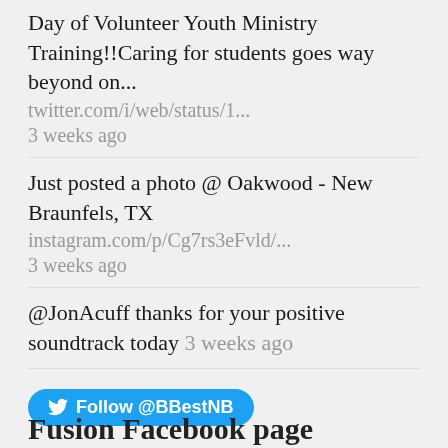Day of Volunteer Youth Ministry Training!!Caring for students goes way beyond on...
twitter.com/i/web/status/1...
3 weeks ago
Just posted a photo @ Oakwood - New Braunfels, TX
instagram.com/p/Cg7rs3eFvld/...
3 weeks ago
@JonAcuff thanks for your positive soundtrack today 3 weeks ago
Follow @BBestNB
Fusion Facebook page